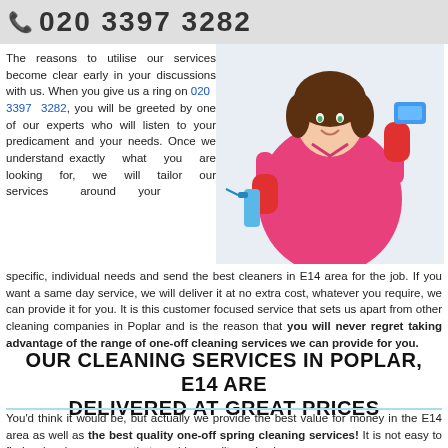📞 020 3397 3282
The reasons to utilise our services become clear early in your discussions with us. When you give us a ring on 020 3397 3282, you will be greeted by one of our experts who will listen to your predicament and your needs. Once we understand exactly what you are looking for, we will tailor our services around your specific, individual needs and send the best cleaners in E14 area for the job. If you want a same day service, we will deliver it at no extra cost, whatever you require, we can provide it for you. It is this customer focused service that sets us apart from other cleaning companies in Poplar and is the reason that you will never regret taking advantage of the range of one-off cleaning services we can provide for you.
[Figure (photo): Woman in pink shirt wearing red rubber gloves, holding a spray bottle, smiling - a professional cleaner]
OUR CLEANING SERVICES IN POPLAR, E14 ARE DELIVERED AT GREAT PRICES
You'd think it would be, but actually we provide the best value for money in the E14 area as well as the best quality one-off spring cleaning services! It is not easy to find a cleanign company that provides quality and value